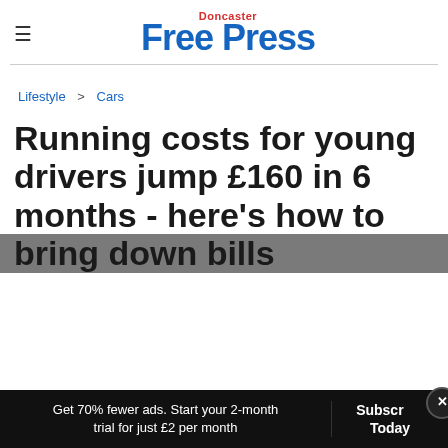Doncaster Free Press
Lifestyle > Cars
Running costs for young drivers jump £160 in 6 months - here's how to bring down bills
Get 70% fewer ads. Start your 2-month trial for just £2 per month  Subscribe Today